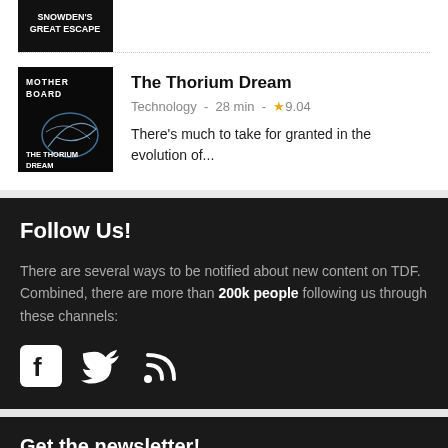[Figure (photo): Snowden's Great Escape movie thumbnail image at top, partially cropped]
[Figure (photo): The Thorium Dream documentary thumbnail - dark background with MOTHERBOARD THE THORIUM DREAM text and abstract light art]
The Thorium Dream
Technology - 28 min - ★9.04
There's much to take for granted in the evolution of...
Follow Us!
There are several ways to be notified about new content on TDF. Combined, there are more than 200k people following us through these channels:
[Figure (infographic): Social media icons: Facebook, Twitter, RSS feed]
Get the newsletter!